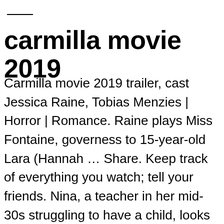carmilla movie 2019
Carmilla movie 2019 trailer, cast Jessica Raine, Tobias Menzies | Horror | Romance. Raine plays Miss Fontaine, governess to 15-year-old Lara (Hannah … Share. Keep track of everything you watch; tell your friends. Nina, a teacher in her mid-30s struggling to have a child, looks for a surrogate mother. "[A] clever but bloodless spin on classic female-vampire yarn (...) the chemistry between Rae and Lingnau isn't given the time to power up